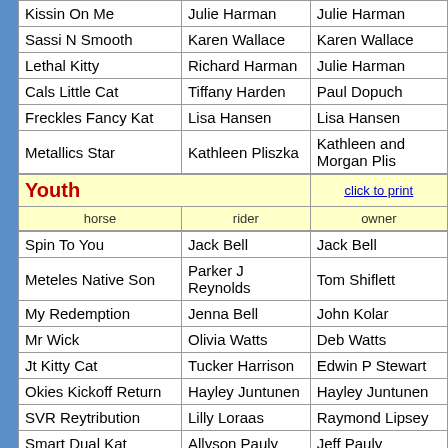| horse | rider | owner |
| --- | --- | --- |
| Kissin On Me | Julie Harman | Julie Harman |
| Sassi N Smooth | Karen Wallace | Karen Wallace |
| Lethal Kitty | Richard Harman | Julie Harman |
| Cals Little Cat | Tiffany Harden | Paul Dopuch |
| Freckles Fancy Kat | Lisa Hansen | Lisa Hansen |
| Metallics Star | Kathleen Pliszka | Kathleen and Morgan Plis... |
Youth
| horse | rider | owner |
| --- | --- | --- |
| Spin To You | Jack Bell | Jack Bell |
| Meteles Native Son | Parker J Reynolds | Tom Shiflett |
| My Redemption | Jenna Bell | John Kolar |
| Mr Wick | Olivia Watts | Deb Watts |
| Jt Kitty Cat | Tucker Harrison | Edwin P Stewart |
| Okies Kickoff Return | Hayley Juntunen | Hayley Juntunen |
| SVR Reytribution | Lilly Loraas | Raymond Lipsey |
| Smart Dual Kat | Allyson Pauly | Jeff Pauly |
$5K Novice Horse Non-Pro
| horse | rider | owner |
| --- | --- | --- |
| Midnight Blu | Elaine Jackson | Elaine Jackson |
| Dakota Dunes | Jack Bell | Jack Bell |
| Sugg Pants | Tammy S Schwert | Tammy S Schwert |